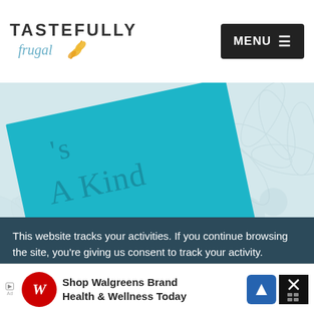TASTEFULLY frugal — MENU
[Figure (photo): Close-up photo of a teal/turquoise paper card being held by a hand. The card has lightly sketched text reading 'A Kind' (partial text visible, likely 'Acts of Kindness'). Background shows a light grey floral patterned surface.]
This website tracks your activities. If you continue browsing the site, you're giving us consent to track your activity.
[Figure (screenshot): Advertisement banner for Walgreens Brand Health & Wellness Today with Walgreens logo, navigation arrow icon, and close button.]